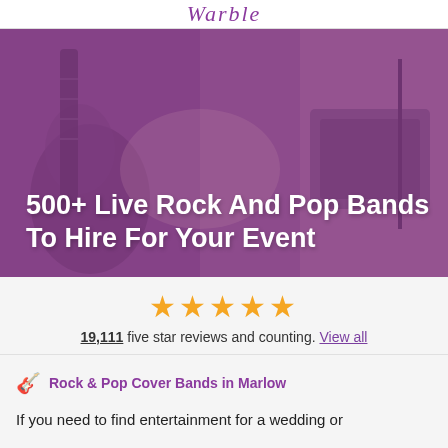Warble
[Figure (photo): Musician playing electric guitar on stage with purple/pink overlay tint, creating a hero banner image]
500+ Live Rock And Pop Bands To Hire For Your Event
19,111 five star reviews and counting. View all
Rock & Pop Cover Bands in Marlow
If you need to find entertainment for a wedding or